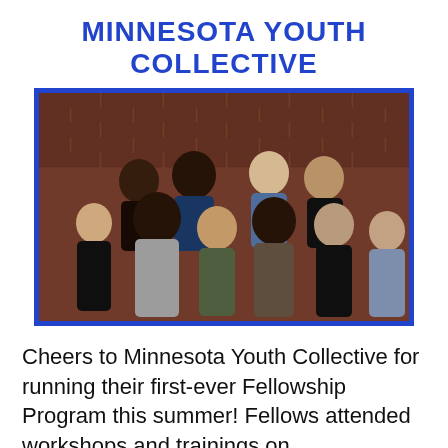MINNESOTA YOUTH COLLECTIVE
[Figure (photo): Group photo of approximately 9 young people smiling in front of a brick wall, representing Minnesota Youth Collective fellows.]
Cheers to Minnesota Youth Collective for running their first-ever Fellowship Program this summer! Fellows attended workshops and trainings on